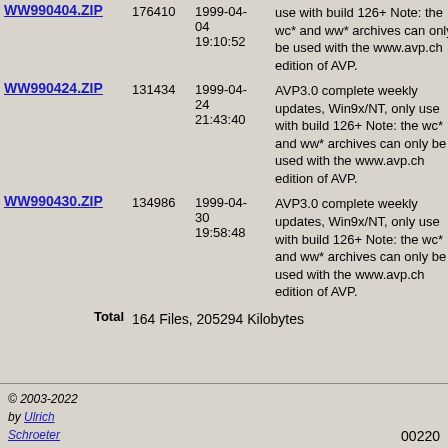| Name | Size | Date | Description | Link |
| --- | --- | --- | --- | --- |
| WW990404.ZIP | 176410 | 1999-04-04 19:10:52 | use with build 126+ Note: the wc* and ww* archives can only be used with the www.avp.ch edition of AVP. | W |
| WW990424.ZIP | 131434 | 1999-04-24 21:43:40 | AVP3.0 complete weekly updates, Win9x/NT, only use with build 126+ Note: the wc* and ww* archives can only be used with the www.avp.ch edition of AVP. | W |
| WW990430.ZIP | 134986 | 1999-04-30 19:58:48 | AVP3.0 complete weekly updates, Win9x/NT, only use with build 126+ Note: the wc* and ww* archives can only be used with the www.avp.ch edition of AVP. | W |
Total   164 Files, 205294 Kilobytes
© 2003-2022 by Ulrich Schroeter   00220